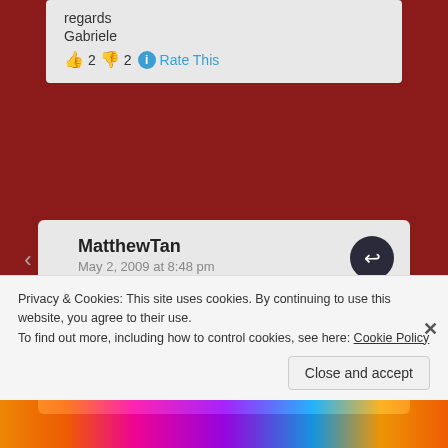regards
Gabriele
👍 2 👎 2 ℹ Rate This
MatthewTan
May 2, 2009 at 8:48 pm

From Qinghai,

I am from Singapore watching the events in Tibet
Privacy & Cookies: This site uses cookies. By continuing to use this website, you agree to their use.
To find out more, including how to control cookies, see here: Cookie Policy
Close and accept